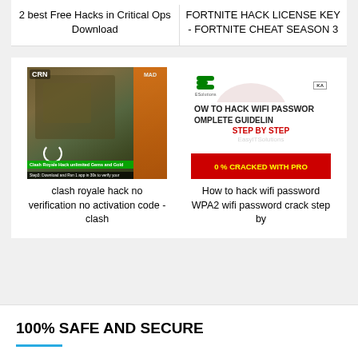2 best Free Hacks in Critical Ops Download
FORTNITE HACK LICENSE KEY - FORTNITE CHEAT SEASON 3
[Figure (screenshot): Clash Royale hack thumbnail showing a mobile game screenshot with overlay text 'Clash Royale Hack unlimited Gems and Gold' and 'Step3: Download and Run 1 app in 30s to verify your']
clash royale hack no verification no activation code - clash
[Figure (screenshot): Wifi hack tutorial thumbnail showing 'HOW TO HACK WIFI PASSWORD COMPLETE GUIDELINES STEP BY STEP' with red banner '0 % CRACKED WITH PRO']
How to hack wifi password WPA2 wifi password crack step by
100% SAFE AND SECURE